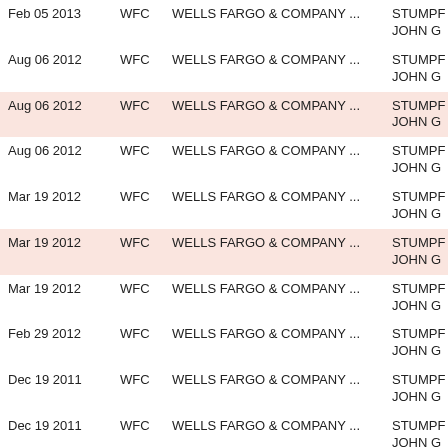| Date | Ticker | Company | Name | Title |
| --- | --- | --- | --- | --- |
| Feb 05 2013 | WFC | WELLS FARGO & COMPANY ... | STUMPF JOHN G | President, C |
| Aug 06 2012 | WFC | WELLS FARGO & COMPANY ... | STUMPF JOHN G | President, C |
| Aug 06 2012 | WFC | WELLS FARGO & COMPANY ... | STUMPF JOHN G | President, C |
| Aug 06 2012 | WFC | WELLS FARGO & COMPANY ... | STUMPF JOHN G | President, C |
| Mar 19 2012 | WFC | WELLS FARGO & COMPANY ... | STUMPF JOHN G | President, C |
| Mar 19 2012 | WFC | WELLS FARGO & COMPANY ... | STUMPF JOHN G | President, C |
| Mar 19 2012 | WFC | WELLS FARGO & COMPANY ... | STUMPF JOHN G | President, C |
| Feb 29 2012 | WFC | WELLS FARGO & COMPANY ... | STUMPF JOHN G | President, C |
| Dec 19 2011 | WFC | WELLS FARGO & COMPANY ... | STUMPF JOHN G | President, C |
| Dec 19 2011 | WFC | WELLS FARGO & COMPANY ... | STUMPF JOHN G | President, C |
| Dec 19 2011 | WFC | WELLS FARGO & COMPANY ... | STUMPF JOHN G | President, C |